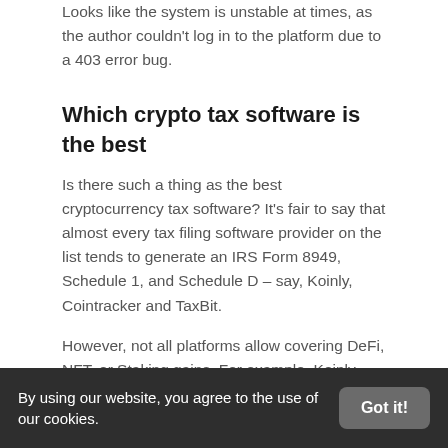Looks like the system is unstable at times, as the author couldn't log in to the platform due to a 403 error bug.
Which crypto tax software is the best
Is there such a thing as the best cryptocurrency tax software? It's fair to say that almost every tax filing software provider on the list tends to generate an IRS Form 8949, Schedule 1, and Schedule D – say, Koinly, Cointracker and TaxBit.
However, not all platforms allow covering DeFi, NFT, or Staking gains. For example, Koinly allows to tax only DeFi, Margin Trades,
By using our website, you agree to the use of our cookies.